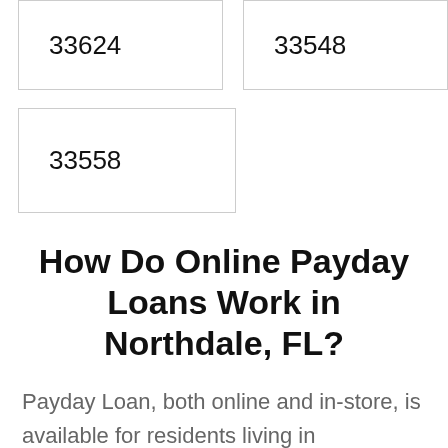33624
33548
33558
How Do Online Payday Loans Work in Northdale, FL?
Payday Loan, both online and in-store, is available for residents living in